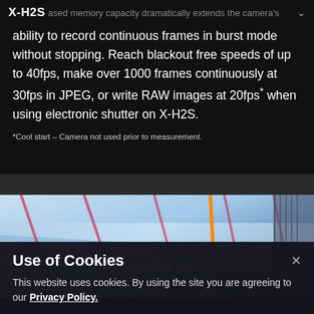X-H2S
ased memory capacity dramatically extends the camera's ability to record continuous frames in burst mode without stopping. Reach blackout free speeds of up to 40fps, make over 1000 frames continuously at 30fps in JPEG, or write RAW images at 20fps* when using electronic shutter on X-H2S.
*Cool start – Camera not used prior to measurement.
[Figure (photo): A skier racing downhill on a slalom course with pink/red gate poles, blue and white snow, orange pole visible, and a bottom section showing a skier figure against a dark background.]
Use of Cookies
This website uses cookies. By using the site you are agreeing to our Privacy Policy.